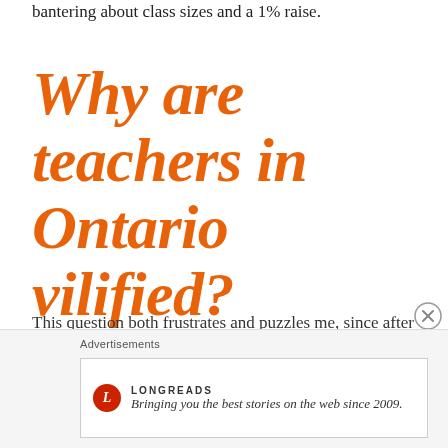bantering about class sizes and a 1% raise.
Why are teachers in Ontario vilified?
This question both frustrates and puzzles me, since after parents we are the frontline profession responsible for the children of this province. The public trusts us every single day with its future – so how can they suddenly feel
Advertisements
[Figure (logo): Longreads logo with red circle containing L, brand name LONGREADS, and tagline: Bringing you the best stories on the web since 2009.]